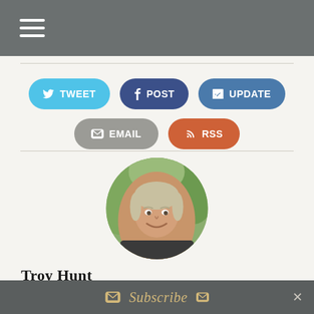Navigation menu (hamburger icon)
[Figure (illustration): Social sharing buttons: TWEET (blue), POST (dark blue), UPDATE (steel blue), EMAIL (gray), RSS (orange)]
[Figure (photo): Circular profile photo of Troy Hunt, a smiling man with short gray/blonde hair outdoors with green foliage in background]
Troy Hunt
Hi, I'm Troy Hunt, I write this blog, create courses for Pluralsight and am a Microsoft Regional Director and MVP who travels the world spe
Subscribe